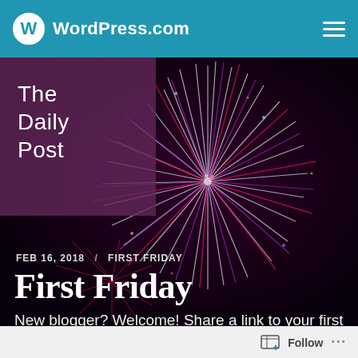WordPress.com
[Figure (illustration): Fireworks photo used as hero background — colorful burst of red, purple, and white fireworks against a dark night sky]
The Daily Post
FEB 16, 2018 / FIRST FRIDAY
First Friday
New blogger? Welcome! Share a link to your first post, say hello to other new faces, and
Follow